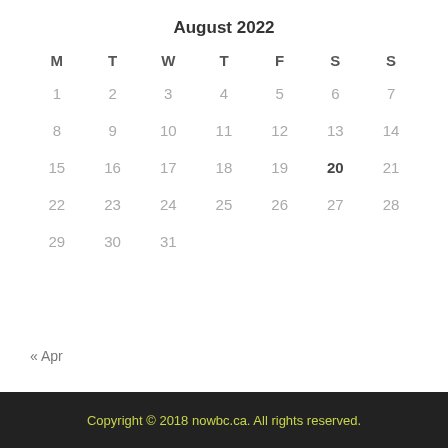August 2022
| M | T | W | T | F | S | S |
| --- | --- | --- | --- | --- | --- | --- |
| 1 | 2 | 3 | 4 | 5 | 6 | 7 |
| 8 | 9 | 10 | 11 | 12 | 13 | 14 |
| 15 | 16 | 17 | 18 | 19 | 20 | 21 |
| 22 | 23 | 24 | 25 | 26 | 27 | 28 |
| 29 | 30 | 31 |  |  |  |  |
« Apr
Copyright © 2018 nowbc.ca. All rights reserved.